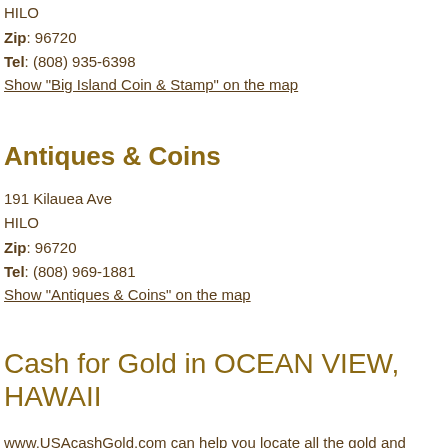HILO
Zip: 96720
Tel: (808) 935-6398
Show "Big Island Coin & Stamp" on the map
Antiques & Coins
191 Kilauea Ave
HILO
Zip: 96720
Tel: (808) 969-1881
Show "Antiques & Coins" on the map
Cash for Gold in OCEAN VIEW, HAWAII
www.USAcashGold.com can help you locate all the gold and other precious metals and stones buyers near you, and possibly help you